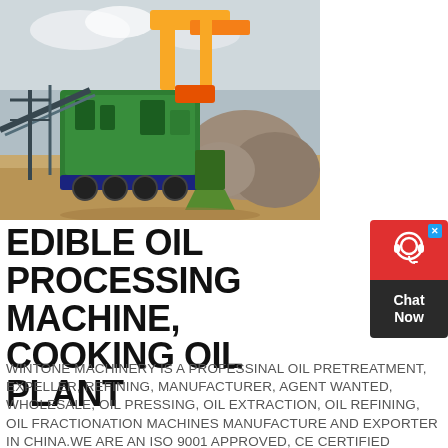[Figure (photo): Industrial mining/crushing machinery — large green rock crusher and conveyor equipment on a sandy worksite with large boulders and cloudy sky in background]
EDIBLE OIL PROCESSING MACHINE, COOKING OIL PLANT
[Figure (other): Live chat widget with red background showing headset icon and 'Chat Now' text on dark background]
WINTONE MACHINERY IS A PROFESSINAL OIL PRETREATMENT, EXPELLER, REFINING, MANUFACTURER, AGENT WANTED, WHOLESALE, OIL PRESSING, OIL EXTRACTION, OIL REFINING, OIL FRACTIONATION MACHINES MANUFACTURE AND EXPORTER IN CHINA.WE ARE AN ISO 9001 APPROVED, CE CERTIFIED COMPANY, OUR OIL PRESSES ARE OF GREAT QUALITY, THE OIL PRODUCTION PLANT WE DESIGNED ARE HIGHLY EFFICIENT AND WE ALSO SUPPORT CUSTOMIZED